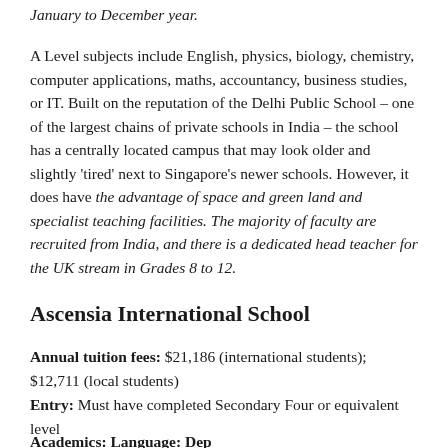January to December year.
A Level subjects include English, physics, biology, chemistry, computer applications, maths, accountancy, business studies, or IT. Built on the reputation of the Delhi Public School – one of the largest chains of private schools in India – the school has a centrally located campus that may look older and slightly 'tired' next to Singapore's newer schools. However, it does have the advantage of space and green land and specialist teaching facilities. The majority of faculty are recruited from India, and there is a dedicated head teacher for the UK stream in Grades 8 to 12.
Ascensia International School
Annual tuition fees: $21,186 (international students); $12,711 (local students)
Entry: Must have completed Secondary Four or equivalent level
Academics: Language: Depends